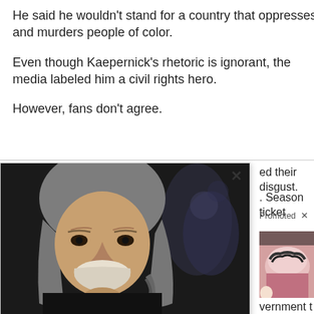He said he wouldn’t stand for a country that oppresses and murders people of color.
Even though Kaepernick’s rhetoric is ignorant, the media labeled him a civil rights hero.
However, fans don’t agree.
ed their disgust.
. Season ticket
Promoted ×
[Figure (photo): Portrait photo of an elderly man with long gray hair and a white beard, wearing dark clothing, looking at the camera with a serious expression. Background is blurred with bokeh.]
A Tragic End Today For Willie Nelson
[Figure (photo): Close-up photo of what appears to be a toenail or fingernail, pink skin visible.]
vernment t Grants